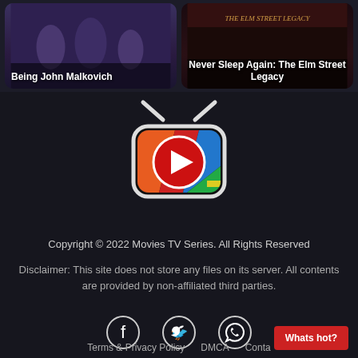[Figure (screenshot): Movie card: Being John Malkovich with dark purple/group photo background]
Being John Malkovich
[Figure (screenshot): Movie card: Never Sleep Again: The Elm Street Legacy with dark red background]
Never Sleep Again: The Elm Street Legacy
[Figure (logo): Movies TV Series logo: colorful TV set shape with red play button circle and antenna]
Copyright © 2022 Movies TV Series. All Rights Reserved
Disclaimer: This site does not store any files on its server. All contents are provided by non-affiliated third parties.
[Figure (infographic): Social media icons: Facebook, Twitter, WhatsApp circles in white]
Terms & Privacy Policy   DMCA   Conta...
Whats hot?